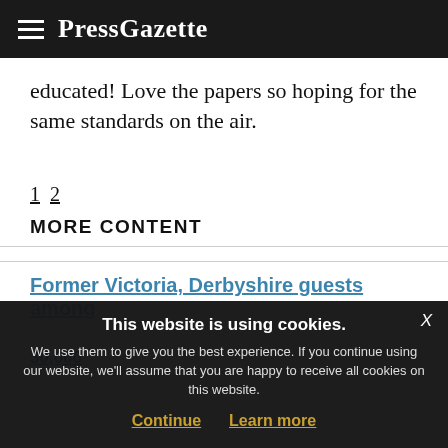PressGazette
educated! Love the papers so hoping for the same standards on the air.
1 2
MORE CONTENT
Former Victoria, Derbyshire guests among
30,000
This website is using cookies. We use them to give you the best experience. If you continue using our website, we'll assume that you are happy to receive all cookies on this website.
Continue  Learn more